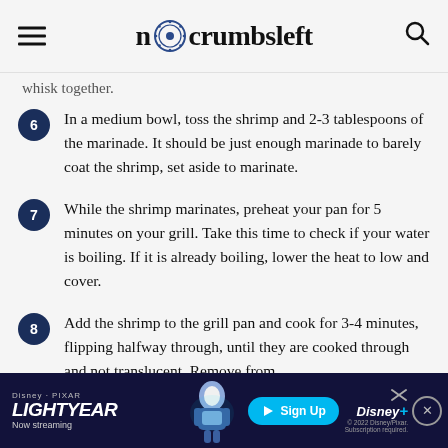nocrumbsleft
whisk together.
6 In a medium bowl, toss the shrimp and 2-3 tablespoons of the marinade. It should be just enough marinade to barely coat the shrimp, set aside to marinate.
7 While the shrimp marinates, preheat your pan for 5 minutes on your grill. Take this time to check if your water is boiling. If it is already boiling, lower the heat to low and cover.
8 Add the shrimp to the grill pan and cook for 3-4 minutes, flipping halfway through, until they are cooked through and not translucent. Remove from
[Figure (infographic): Advertisement banner for Disney Pixar Lightyear: 'Now streaming' with Sign Up button and Disney+ branding]